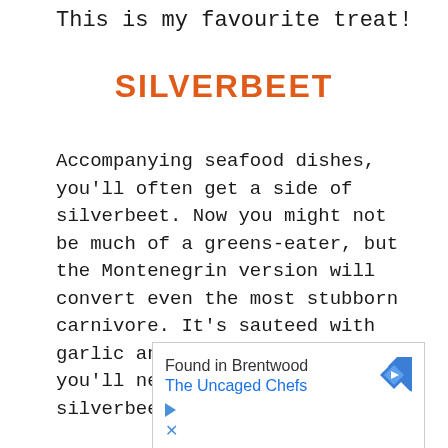This is my favourite treat!
SILVERBEET
Accompanying seafood dishes, you'll often get a side of silverbeet. Now you might not be much of a greens-eater, but the Montenegrin version will convert even the most stubborn carnivore. It's sauteed with garlic and served with potato... you'll never look at humble silverbeet the same again!
[Figure (other): Advertisement box: 'Found in Brentwood / The Uncaged Chefs' with a blue diamond navigation icon, play button icon, and close icon.]